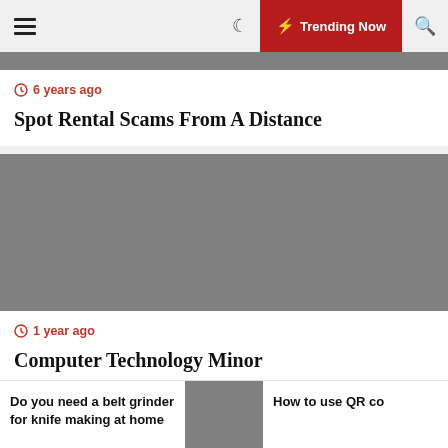☰ 🌙 ⚡ Trending Now 🔍
[Figure (photo): Gray placeholder image at top]
6 years ago
Spot Rental Scams From A Distance
[Figure (photo): Gray placeholder image for Computer Technology Minor article]
1 year ago
Computer Technology Minor
Do you need a belt grinder for knife making at home
[Figure (photo): Gray placeholder thumbnail in bottom navigation]
How to use QR co